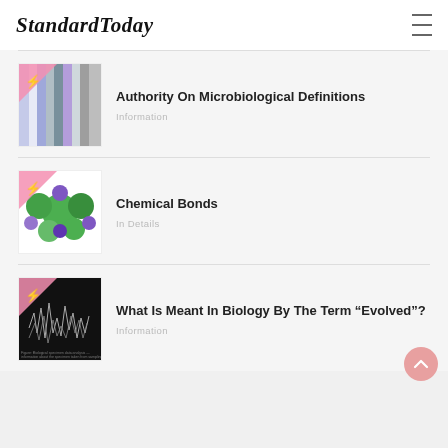StandardToday
[Figure (screenshot): Thumbnail image for Authority On Microbiological Definitions article — shows microscopy/biology data with pink triangle overlay and lightning bolt icon]
Authority On Microbiological Definitions
Information
[Figure (screenshot): Thumbnail image for Chemical Bonds article — shows green and purple molecular spheres (chemical bond model) with pink triangle overlay and lightning bolt icon]
Chemical Bonds
In Details
[Figure (screenshot): Thumbnail image for What Is Meant In Biology By The Term Evolved article — shows dark scientific figure with pink triangle overlay and lightning bolt icon]
What Is Meant In Biology By The Term “Evolved”?
Information